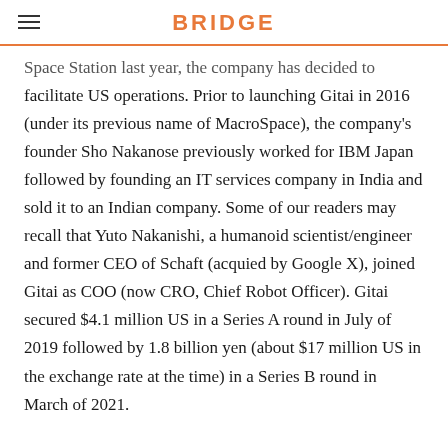BRIDGE
Space Station last year, the company has decided to facilitate US operations. Prior to launching Gitai in 2016 (under its previous name of MacroSpace), the company's founder Sho Nakanose previously worked for IBM Japan followed by founding an IT services company in India and sold it to an Indian company. Some of our readers may recall that Yuto Nakanishi, a humanoid scientist/engineer and former CEO of Schaft (acquied by Google X), joined Gitai as COO (now CRO, Chief Robot Officer). Gitai secured $4.1 million US in a Series A round in July of 2019 followed by 1.8 billion yen (about $17 million US in the exchange rate at the time) in a Series B round in March of 2021.